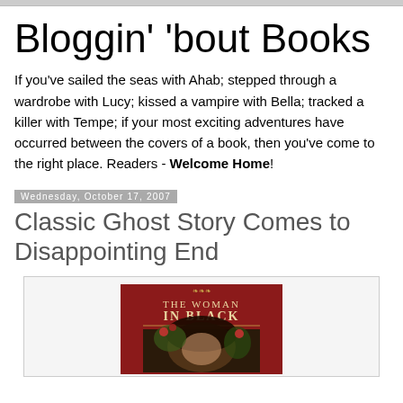Bloggin' 'bout Books
If you've sailed the seas with Ahab; stepped through a wardrobe with Lucy; kissed a vampire with Bella; tracked a killer with Tempe; if your most exciting adventures have occurred between the covers of a book, then you've come to the right place. Readers - Welcome Home!
Wednesday, October 17, 2007
Classic Ghost Story Comes to Disappointing End
[Figure (photo): Book cover of 'The Woman in Black' — red background with a woman's face partially obscured, title text in gold/white lettering]